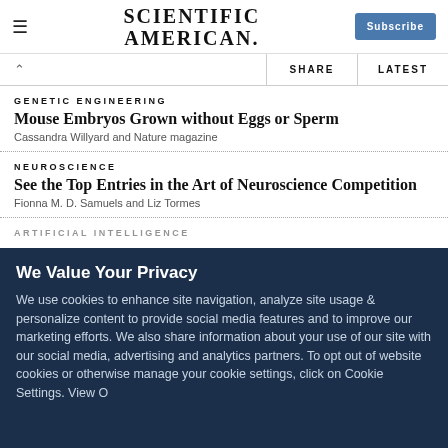SCIENTIFIC AMERICAN
GENETIC ENGINEERING
Mouse Embryos Grown without Eggs or Sperm
Cassandra Willyard and Nature magazine
NEUROSCIENCE
See the Top Entries in the Art of Neuroscience Competition
Fionna M. D. Samuels and Liz Tormes
We Value Your Privacy
We use cookies to enhance site navigation, analyze site usage & personalize content to provide social media features and to improve our marketing efforts. We also share information about your use of our site with our social media, advertising and analytics partners. To opt out of website cookies or otherwise manage your cookie settings, click on Cookie Settings. View O